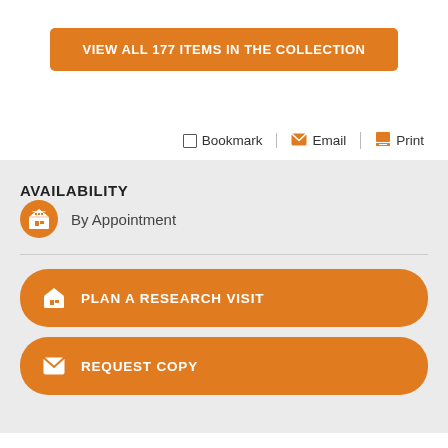VIEW ALL 177 ITEMS IN THE COLLECTION
Bookmark  Email  Print
AVAILABILITY
By Appointment
PLAN A RESEARCH VISIT
REQUEST COPY